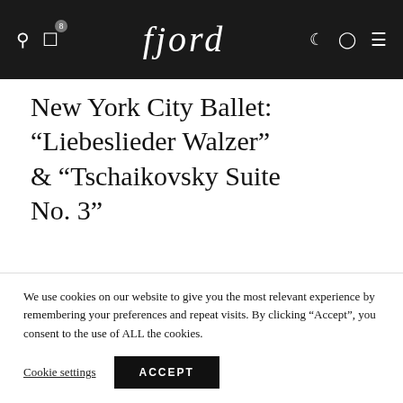fjord [navigation bar with search, bag (8), moon, account, menu icons]
New York City Ballet: “Liebeslieder Walzer” & “Tschaikovsky Suite No. 3”
Place
David H. Koch T…
We use cookies on our website to give you the most relevant experience by remembering your preferences and repeat visits. By clicking “Accept”, you consent to the use of ALL the cookies.
Cookie settings  ACCEPT